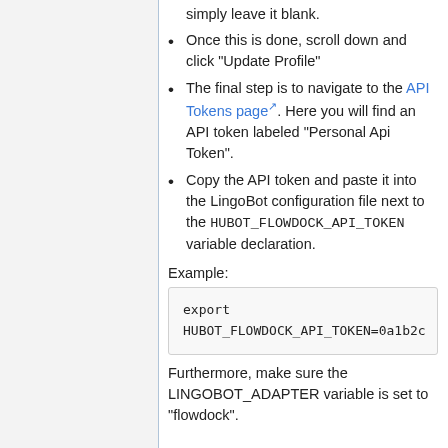simply leave it blank.
Once this is done, scroll down and click "Update Profile"
The final step is to navigate to the API Tokens page. Here you will find an API token labeled "Personal Api Token".
Copy the API token and paste it into the LingoBot configuration file next to the HUBOT_FLOWDOCK_API_TOKEN variable declaration.
Example:
export HUBOT_FLOWDOCK_API_TOKEN=0a1b2c
Furthermore, make sure the LINGOBOT_ADAPTER variable is set to "flowdock".